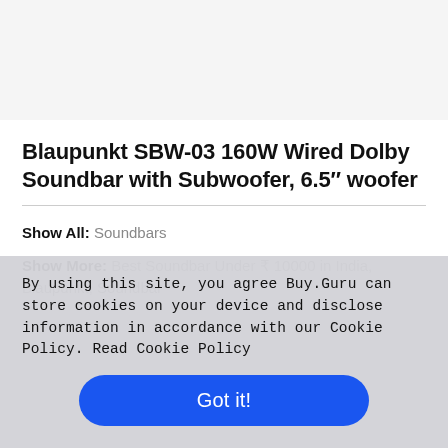[Figure (other): Product image placeholder area (light gray background, product not visible)]
Blaupunkt SBW-03 160W Wired Dolby Soundbar with Subwoofer, 6.5″ woofer
Show All: Soundbars
Show More: Best Soundbar Under ₹ 10000 in India, Blaupunkt, Soundbar
By using this site, you agree Buy.Guru can store cookies on your device and disclose information in accordance with our Cookie Policy. Read Cookie Policy
Got it!